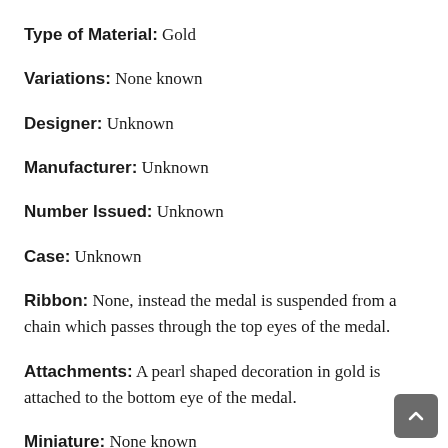Type of Material: Gold
Variations: None known
Designer: Unknown
Manufacturer: Unknown
Number Issued: Unknown
Case: Unknown
Ribbon: None, instead the medal is suspended from a chain which passes through the top eyes of the medal.
Attachments: A pearl shaped decoration in gold is attached to the bottom eye of the medal.
Miniature: None known